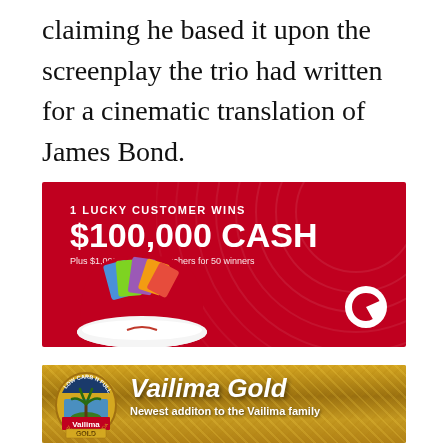claiming he based it upon the screenplay the trio had written for a cinematic translation of James Bond.
[Figure (infographic): Vodafone advertisement on red background: '1 LUCKY CUSTOMER WINS $100,000 CASH Plus $1,000 shopping vouchers for 50 winners' with a Santa sack filled with gift cards and the Vodafone logo.]
[Figure (infographic): Vailima Gold beer advertisement on gold textured background with Vailima Gold logo badge on left, bold white italic text 'Vailima Gold' and tagline 'Newest additon to the Vailima family'.]